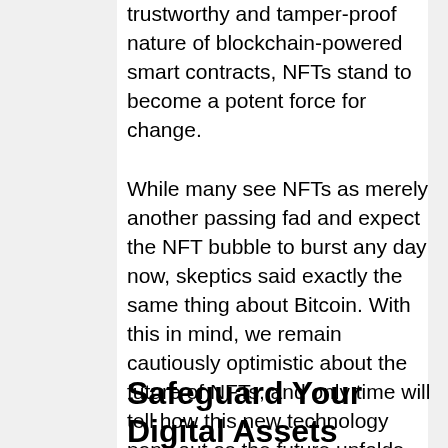trustworthy and tamper-proof nature of blockchain-powered smart contracts, NFTs stand to become a potent force for change.
While many see NFTs as merely another passing fad and expect the NFT bubble to burst any day now, skeptics said exactly the same thing about Bitcoin. With this in mind, we remain cautiously optimistic about the future of NFTs, and only time will tell how this new technology pans out as the future unfolds.
Safeguard Your Digital Assets